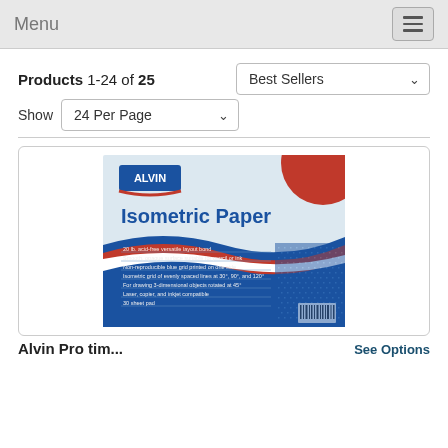Menu
Products 1-24 of 25
Show 24 Per Page
Best Sellers
[Figure (photo): Alvin Isometric Paper product package — light blue background with red accent circle top right, red and blue wave design, ALVIN logo, large bold text 'Isometric Paper', bullet points listing product features, isometric grid pattern on right side, barcode bottom right.]
See Options
Alvin Pro tim...